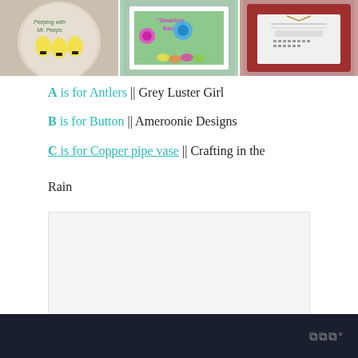[Figure (photo): Three craft/DIY project photos in a horizontal strip: left shows a decorative plate with Peeps and floral design, center shows a framed Easter egg display with colorful flowers, right shows a framed typewriter cross-stitch on red frame.]
A is for Antlers || Grey Luster Girl
B is for Button || Ameroonie Designs
C is for Copper pipe vase || Crafting in the Rain
[Figure (other): Advertisement placeholder box (light gray)]
WWW° logo